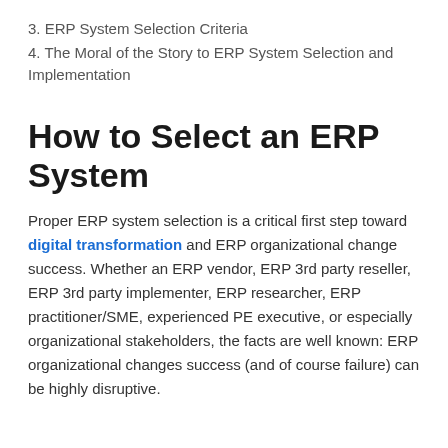3. ERP System Selection Criteria
4. The Moral of the Story to ERP System Selection and Implementation
How to Select an ERP System
Proper ERP system selection is a critical first step toward digital transformation and ERP organizational change success. Whether an ERP vendor, ERP 3rd party reseller, ERP 3rd party implementer, ERP researcher, ERP practitioner/SME, experienced PE executive, or especially organizational stakeholders, the facts are well known: ERP organizational changes success (and of course failure) can be highly disruptive.